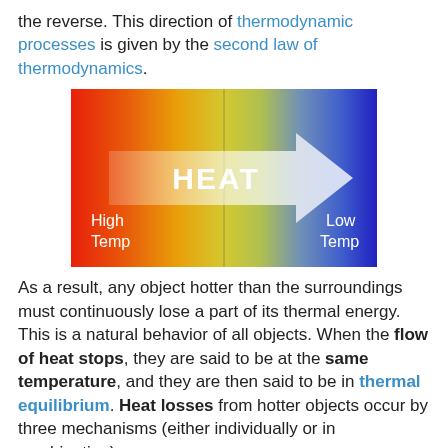the reverse. This direction of thermodynamic processes is given by the second law of thermodynamics.
[Figure (illustration): A color-gradient rectangle transitioning from red (left/high temp) to blue (right/low temp), with a large white arrow pointing right labeled 'HEAT'. Text 'High Temp' appears at bottom-left and 'Low Temp' at bottom-right.]
As a result, any object hotter than the surroundings must continuously lose a part of its thermal energy. This is a natural behavior of all objects. When the flow of heat stops, they are said to be at the same temperature, and they are then said to be in thermal equilibrium. Heat losses from hotter objects occur by three mechanisms (either individually or in combination):